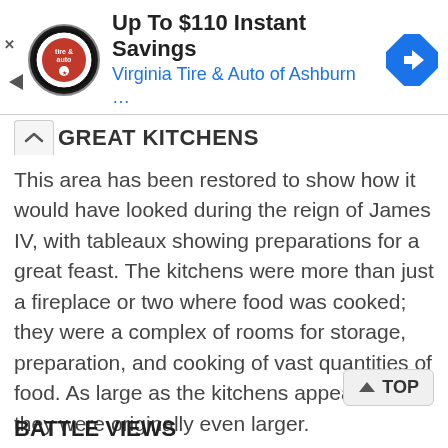[Figure (infographic): Advertisement banner: Virginia Tire & Auto of Ashburn logo (circular black badge with 'tire & auto'), headline 'Up To $110 Instant Savings', subtitle 'Virginia Tire & Auto of Ashburn …', blue navigation diamond icon on right, play and close controls on left.]
THE GREAT KITCHENS
This area has been restored to show how it would have looked during the reign of James IV, with tableaux showing preparations for a great feast. The kitchens were more than just a fireplace or two where food was cooked; they were a complex of rooms for storage, preparation, and cooking of vast quantities of food. As large as the kitchens appear now, they were originally even larger.
BATTLE VIEWS